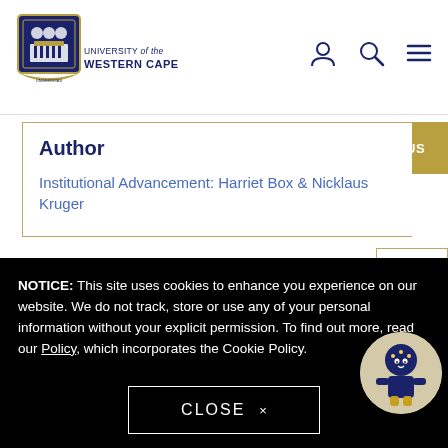[Figure (logo): University of the Western Cape crest logo with shield and decorative border]
UNIVERSITY of the WESTERN CAPE
[Figure (other): Navigation icons: person/account, search magnifier, hamburger menu]
Author
Institutional Advancement: Harriet Box & Nicklaus Kruger
[Figure (other): CONTACT US gold button]
[Figure (other): Share icon button with three connected circles]
Related Articles (partially visible)
NOTICE: This site uses cookies to enhance you experience on our website. We do not track, store or use any of your personal information without your explicit permission. To find out more, read our Policy, which incorporates the Cookie Policy.
[Figure (illustration): University mascot cartoon figure in blue costume with star-pattern head, inside white circle on black background]
CLOSE ×